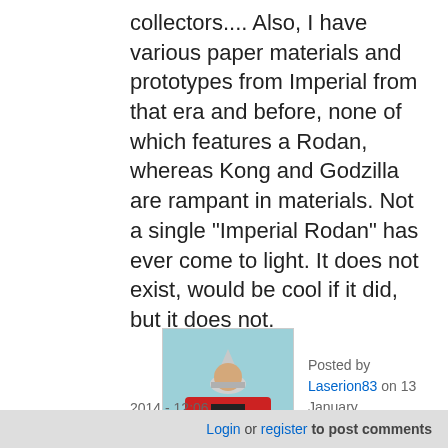collectors.... Also, I have various paper materials and prototypes from Imperial from that era and before, none of which features a Rodan, whereas Kong and Godzilla are rampant in materials. Not a single "Imperial Rodan" has ever come to light. It does not exist, would be cool if it did, but it does not.
[Figure (photo): A photo of a costumed character or action figure wearing a silver/white conical helmet with a red and black costume, photographed against a light blue sky background.]
Posted by Laserion83 on 13 January, 2014 - 12:06
Login or register to post comments